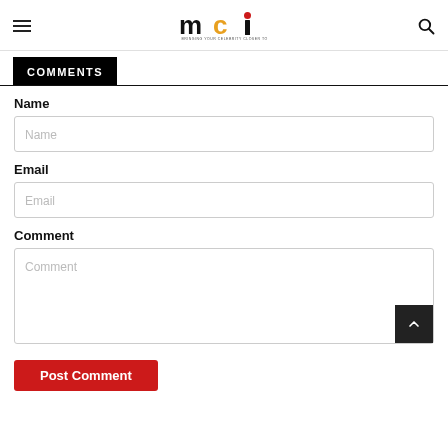MCI — Bringing your celebrity closer to you
COMMENTS
Name
Email
Comment
Post Comment